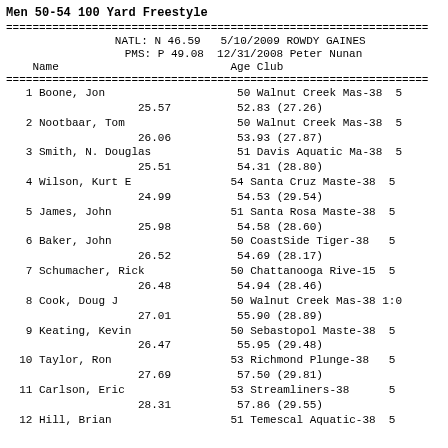Men 50-54 100 Yard Freestyle
| Place | Name | Age | Club | Time |
| --- | --- | --- | --- | --- |
| 1 | Boone, Jon | 50 | Walnut Creek Mas-38 | 52.83 (27.26) |
| 2 | Nootbaar, Tom | 50 | Walnut Creek Mas-38 | 53.93 (27.87) |
| 3 | Smith, N. Douglas | 51 | Davis Aquatic Ma-38 | 54.31 (28.80) |
| 4 | Wilson, Kurt E | 54 | Santa Cruz Maste-38 | 54.53 (29.54) |
| 5 | James, John | 51 | Santa Rosa Maste-38 | 54.58 (28.60) |
| 6 | Baker, John | 50 | CoastSide Tiger-38 | 54.69 (28.17) |
| 7 | Schumacher, Rick | 50 | Chattanooga Rive-15 | 54.94 (28.46) |
| 8 | Cook, Doug J | 50 | Walnut Creek Mas-38 | 1:0... 55.90 (28.89) |
| 9 | Keating, Kevin | 50 | Sebastopol Maste-38 | 55.95 (29.48) |
| 10 | Taylor, Ron | 53 | Richmond Plunge-38 | 57.50 (29.81) |
| 11 | Carlson, Eric | 53 | Streamliners-38 | 57.86 (29.55) |
| 12 | Hill, Brian | 51 | Temescal Aquatic-38 |  |